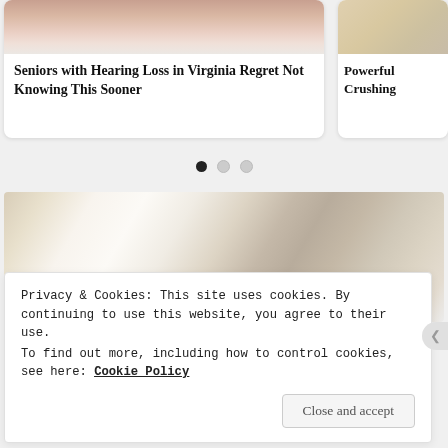[Figure (photo): Article card showing hands close-up photo, partially cropped at top. Card titled 'Seniors with Hearing Loss in Virginia Regret Not Knowing This Sooner']
Seniors with Hearing Loss in Virginia Regret Not Knowing This Sooner
[Figure (photo): Partially visible article card on right with tan/beige texture image. Title partially visible: 'Powerful... Crushing...']
Powerful Crushing
[Figure (other): Carousel navigation dots: one filled black dot and two grey dots]
[Figure (photo): Photo of elderly woman and younger woman (caregiver) smiling at each other in a bright, airy room]
Privacy & Cookies: This site uses cookies. By continuing to use this website, you agree to their use.
To find out more, including how to control cookies, see here: Cookie Policy
Close and accept